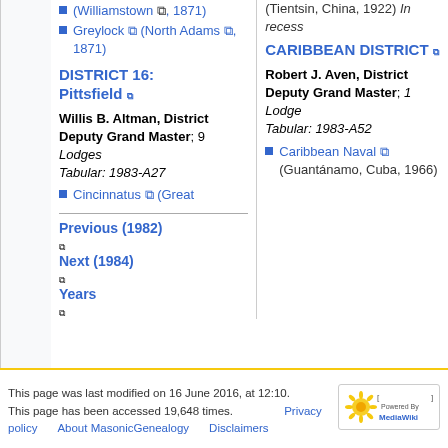(Williamstown, 1871)
Greylock (North Adams, 1871)
DISTRICT 16: Pittsfield
Willis B. Altman, District Deputy Grand Master; 9 Lodges Tabular: 1983-A27
Cincinnatus (Great
(Tientsin, China, 1922) In recess
CARIBBEAN DISTRICT
Robert J. Aven, District Deputy Grand Master; 1 Lodge Tabular: 1983-A52
Caribbean Naval (Guantánamo, Cuba, 1966)
Previous (1982) Next (1984) Years
This page was last modified on 16 June 2016, at 12:10. This page has been accessed 19,648 times. Privacy policy   About MasonicGenealogy   Disclaimers